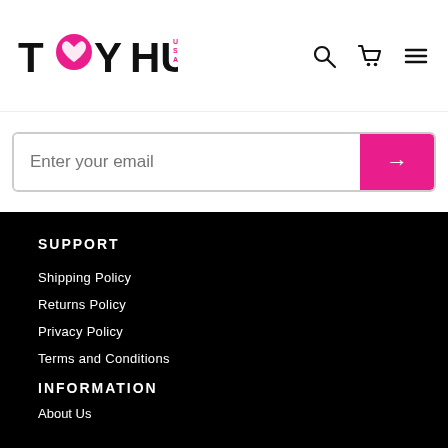[Figure (logo): Toy Hub USA logo with pink heart icon and pink USA text]
Enter your email
SUPPORT
Shipping Policy
Returns Policy
Privacy Policy
Terms and Conditions
INFORMATION
About Us